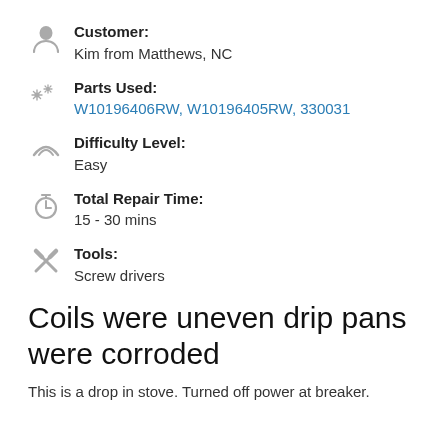Customer: Kim from Matthews, NC
Parts Used: W10196406RW, W10196405RW, 330031
Difficulty Level: Easy
Total Repair Time: 15 - 30 mins
Tools: Screw drivers
Coils were uneven drip pans were corroded
This is a drop in stove. Turned off power at breaker.